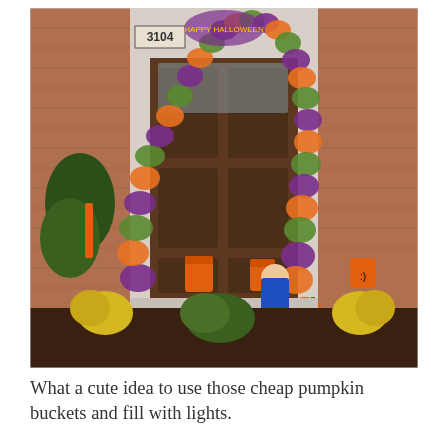[Figure (photo): A house front door decorated with colorful purple, orange, and green deco mesh garland forming an arch. House number 3104 is visible. A young child in a blue outfit crouches on the front walkway. Orange pumpkin-shaped luminaries/buckets are placed along the path. Yellow mums and other plants are in the front garden bed.]
What a cute idea to use those cheap pumpkin buckets and fill with lights.